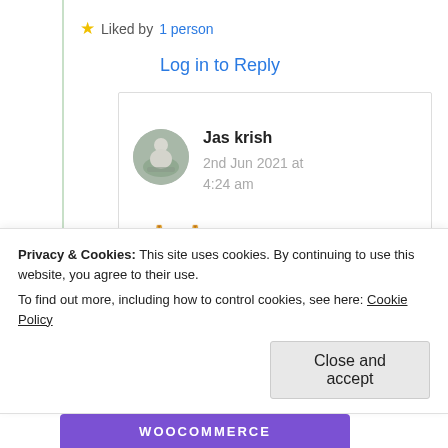stopping by dear Krish 😊❤️🙏
★ Liked by 1 person
Log in to Reply
Jas krish
2nd Jun 2021 at 4:24 am
[Figure (photo): Circular avatar of Jas krish showing a Buddha statue]
🙏🙏
Privacy & Cookies: This site uses cookies. By continuing to use this website, you agree to their use. To find out more, including how to control cookies, see here: Cookie Policy
Close and accept
[Figure (logo): WooCommerce purple banner logo]